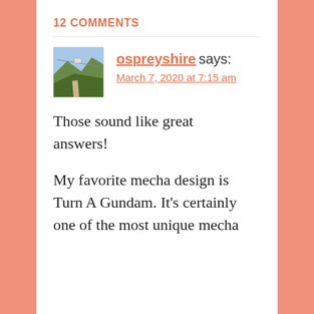12 COMMENTS
[Figure (photo): Avatar photo of ospreyshire showing a mountain/hillside landscape with a cable car or gondola visible, path/walkway in foreground, green trees, blue sky.]
ospreyshire says:
March 7, 2020 at 7:15 am
Those sound like great answers!
My favorite mecha design is Turn A Gundam. It's certainly one of the most unique mecha